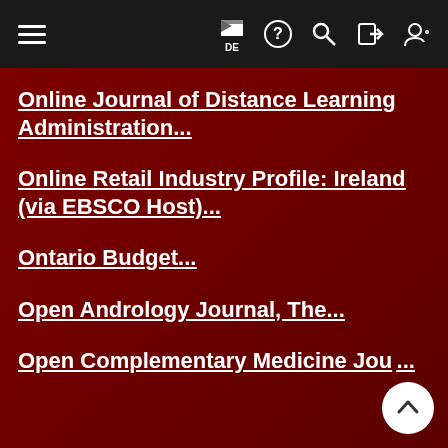Navigation header with hamburger menu, flag/DE language selector, help, search, login, and register icons
Online Journal of Distance Learning Administration...
Online Retail Industry Profile: Ireland (via EBSCO Host)...
Ontario Budget...
Open Andrology Journal, The...
Open Complementary Medicine Jou... ...